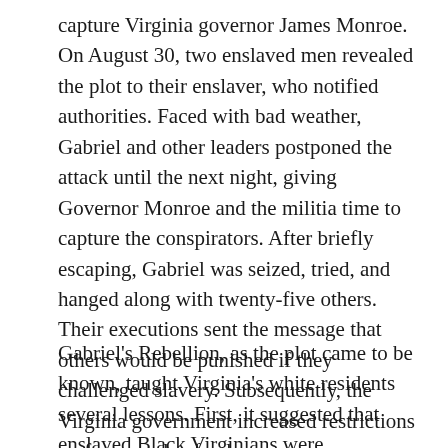capture Virginia governor James Monroe. On August 30, two enslaved men revealed the plot to their enslaver, who notified authorities. Faced with bad weather, Gabriel and other leaders postponed the attack until the next night, giving Governor Monroe and the militia time to capture the conspirators. After briefly escaping, Gabriel was seized, tried, and hanged along with twenty-five others. Their executions sent the message that others would be punished if they challenged slavery. Subsequently, the Virginia government increased restrictions on free people of color.
Gabriel's Rebellion, as the plot came to be known, taught Virginia's white residents several lessons. First, it suggested that enslaved Black Virginians were